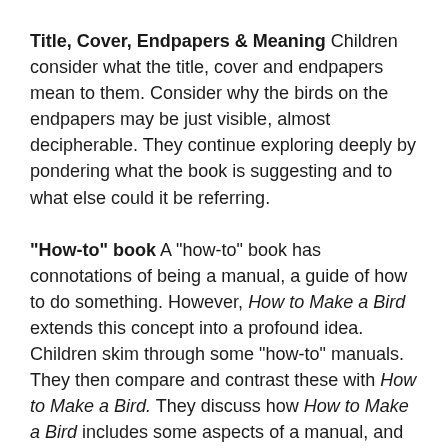Title, Cover, Endpapers & Meaning Children consider what the title, cover and endpapers mean to them. Consider why the birds on the endpapers may be just visible, almost decipherable. They continue exploring deeply by pondering what the book is suggesting and to what else could it be referring.
"How-to" book A "how-to" book has connotations of being a manual, a guide of how to do something. However, How to Make a Bird extends this concept into a profound idea. Children skim through some "how-to" manuals. They then compare and contrast these with How to Make a Bird. They discuss how How to Make a Bird includes some aspects of a manual, and how it exceeds this genre.